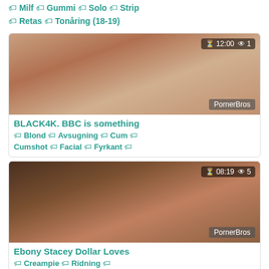Milf  Gummi  Solo  Strip  Retas  Tonåring (18-19)
[Figure (photo): Thumbnail image for video 'BLACK4K. BBC is something' with duration 12:00 and 1 view, watermarked with PornerBros]
BLACK4K. BBC is something
Blond  Avsugning  Cum  Cumshot  Facial  Fyrkant
[Figure (photo): Thumbnail image for video 'Ebony Stacey Dollar Loves' with duration 08:19 and 5 views, watermarked with PornerBros]
Ebony Stacey Dollar Loves
Creampie  Ridning